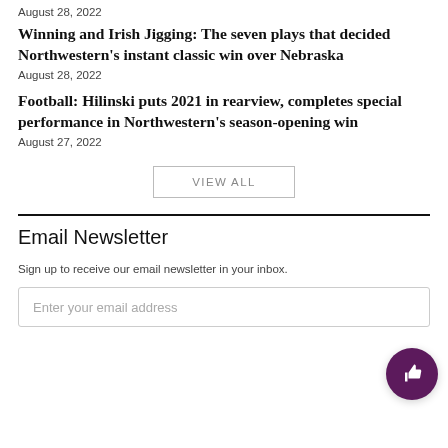August 28, 2022
Winning and Irish Jigging: The seven plays that decided Northwestern’s instant classic win over Nebraska
August 28, 2022
Football: Hilinski puts 2021 in rearview, completes special performance in Northwestern’s season-opening win
August 27, 2022
VIEW ALL
Email Newsletter
Sign up to receive our email newsletter in your inbox.
Enter your email address